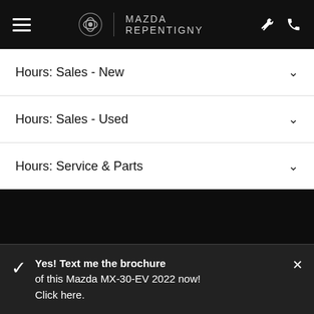MAZDA REPENTIGNY
Hours: Sales - New
Hours: Sales - Used
Hours: Service & Parts
Yes! Text me the brochure of this Mazda MX-30-EV 2022 now! Click here.